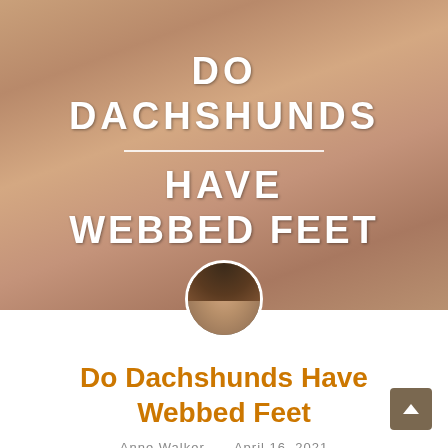[Figure (photo): Hero image of a dachshund paw being held in a human hand, with overlaid text reading DO DACHSHUNDS HAVE WEBBED FEET]
[Figure (photo): Circular author avatar photo of Anne Walker, a woman with dark brown hair]
Do Dachshunds Have Webbed Feet
Anne Walker · April 16, 2021
Dachshunds have webbed...